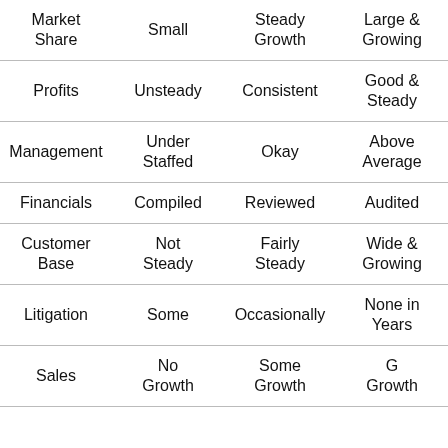| Market Share | Small | Steady Growth | Large & Growing |
| Profits | Unsteady | Consistent | Good & Steady |
| Management | Under Staffed | Okay | Above Average |
| Financials | Compiled | Reviewed | Audited |
| Customer Base | Not Steady | Fairly Steady | Wide & Growing |
| Litigation | Some | Occasionally | None in Years |
| Sales | No Growth | Some Growth | Good Growth |